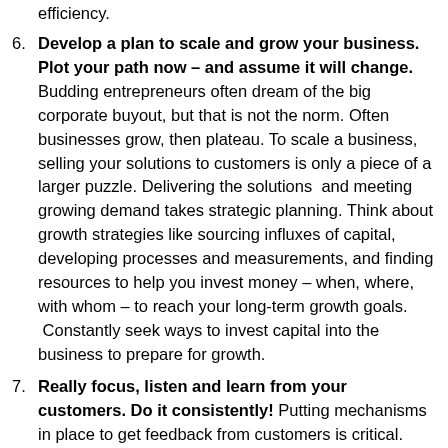efficiency.
Develop a plan to scale and grow your business. Plot your path now – and assume it will change. Budding entrepreneurs often dream of the big corporate buyout, but that is not the norm. Often businesses grow, then plateau. To scale a business, selling your solutions to customers is only a piece of a larger puzzle. Delivering the solutions  and meeting growing demand takes strategic planning. Think about growth strategies like sourcing influxes of capital, developing processes and measurements, and finding resources to help you invest money – when, where, with whom – to reach your long-term growth goals.  Constantly seek ways to invest capital into the business to prepare for growth.
Really focus, listen and learn from your customers. Do it consistently! Putting mechanisms in place to get feedback from customers is critical.  Talk to your customers all the time. Don't lose touch with them and their changing needs while running the business.